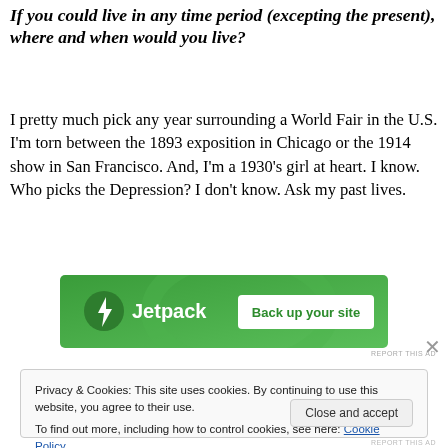If you could live in any time period (excepting the present), where and when would you live?
I pretty much pick any year surrounding a World Fair in the U.S. I'm torn between the 1893 exposition in Chicago or the 1914 show in San Francisco. And, I'm a 1930's girl at heart. I know. Who picks the Depression? I don't know. Ask my past lives.
[Figure (other): Jetpack advertisement banner with green background, Jetpack logo and lightning bolt icon, and a 'Back up your site' button]
Privacy & Cookies: This site uses cookies. By continuing to use this website, you agree to their use.
To find out more, including how to control cookies, see here: Cookie Policy
Close and accept